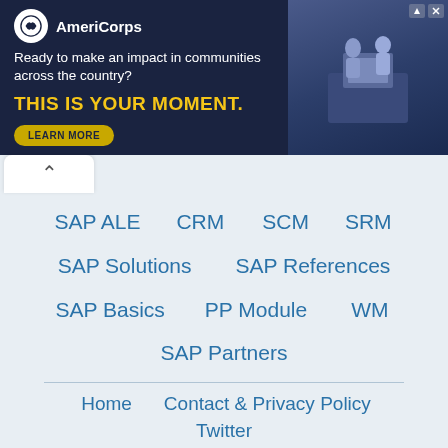[Figure (screenshot): AmeriCorps advertisement banner with dark navy background. Logo with white circle, brand name 'AmeriCorps', tagline 'Ready to make an impact in communities across the country?', headline 'THIS IS YOUR MOMENT.' in yellow, and 'LEARN MORE' button. Right side shows photo of people at computer.]
SAP ALE
CRM
SCM
SRM
SAP Solutions
SAP References
SAP Basics
PP Module
WM
SAP Partners
Home
Contact & Privacy Policy
Twitter
All of the product names here are trademarks of their respective companies. The site sapstack.com is not affiliated with SAP AG.